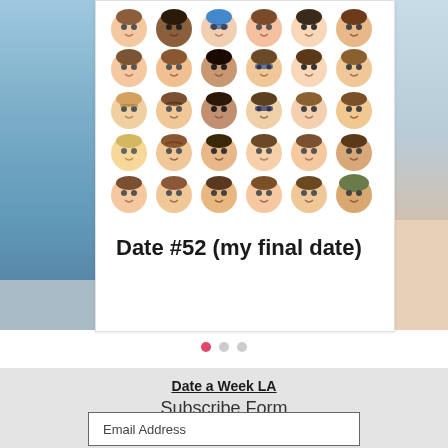[Figure (illustration): A grid of 30 cartoon avatar emoji faces arranged in 5 rows of 6, showing diverse male faces with different hair colors, skin tones, and styles.]
Date #52 (my final date)
[Figure (other): Carousel navigation dots: one pink/red active dot and two grey inactive dots]
Date a Week LA
Subscribe Form
Email Address